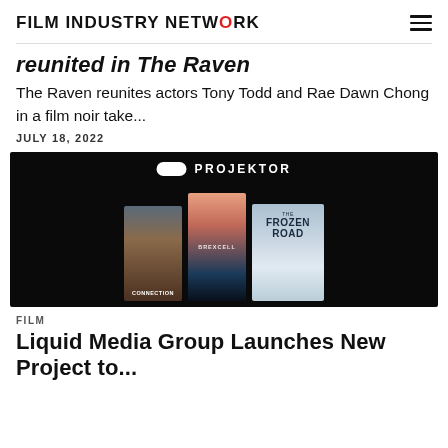FILM INDUSTRY NETWORK
reunited in The Raven
The Raven reunites actors Tony Todd and Rae Dawn Chong in a film noir take...
JULY 18, 2022
[Figure (photo): Projektor branded image showing three documentary film posters: Connection, Brexcell, and The Frozen Road on a dark background]
FILM
Liquid Media Group Launches New Project to...